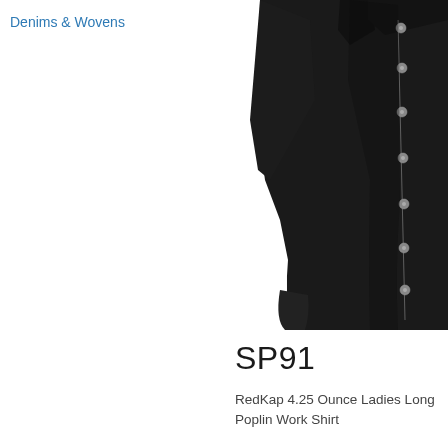Denims & Wovens
[Figure (photo): Black ladies long sleeve button-up work shirt shown from front angle, displaying silver buttons along the placket and button-down collar, cropped to show torso and arms against white background]
SP91
RedKap 4.25 Ounce Ladies Long Poplin Work Shirt